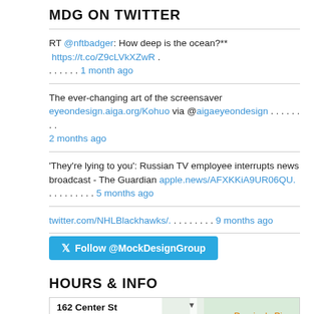MDG ON TWITTER
RT @nftbadger: How deep is the ocean?** https://t.co/Z9cLVkXZwR . . . . . . . 1 month ago
The ever-changing art of the screensaver eyeondesign.aiga.org/Kohuo via @aigaeyeondesign . . . . . . . . 2 months ago
'They're lying to you': Russian TV employee interrupts news broadcast - The Guardian apple.news/AFXKKiA9UR06QU. . . . . . . . . . 5 months ago
twitter.com/NHLBlackhawks/. . . . . . . . . . 9 months ago
Follow @MockDesignGroup
HOURS & INFO
[Figure (map): Google map showing 162 Center St location with Domino's Pizza nearby]